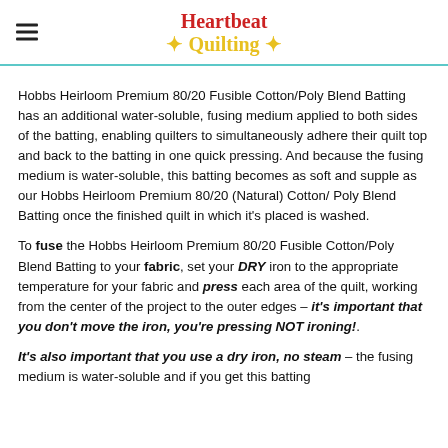Heartbeat Quilting
Hobbs Heirloom Premium 80/20 Fusible Cotton/Poly Blend Batting has an additional water-soluble, fusing medium applied to both sides of the batting, enabling quilters to simultaneously adhere their quilt top and back to the batting in one quick pressing. And because the fusing medium is water-soluble, this batting becomes as soft and supple as our Hobbs Heirloom Premium 80/20 (Natural) Cotton/ Poly Blend Batting once the finished quilt in which it's placed is washed.
To fuse the Hobbs Heirloom Premium 80/20 Fusible Cotton/Poly Blend Batting to your fabric, set your DRY iron to the appropriate temperature for your fabric and press each area of the quilt, working from the center of the project to the outer edges – it's important that you don't move the iron, you're pressing NOT ironing!.
It's also important that you use a dry iron, no steam – the fusing medium is water-soluble and if you get this batting